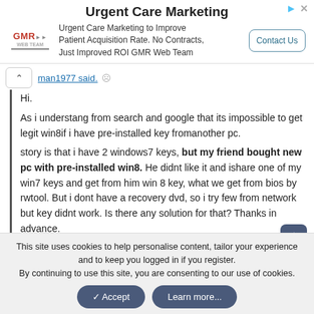[Figure (other): Advertisement banner for GMR Web Team - Urgent Care Marketing. Shows GMR logo, text 'Urgent Care Marketing to Improve Patient Acquisition Rate. No Contracts, Just Improved ROI GMR Web Team', and a 'Contact Us' button.]
man1977 said.
Hi.

As i understang from search and google that its impossible to get legit win8if i have pre-installed key fromanother pc.
story is that i have 2 windows7 keys, but my friend bought new pc with pre-installed win8. He didnt like it and ishare one of my win7 keys and get from him win 8 key, what we get from bios by rwtool. But i dont have a recovery dvd, so i try few from network but key didnt work. Is there any solution for that? Thanks in advance.
This site uses cookies to help personalise content, tailor your experience and to keep you logged in if you register.
By continuing to use this site, you are consenting to our use of cookies.